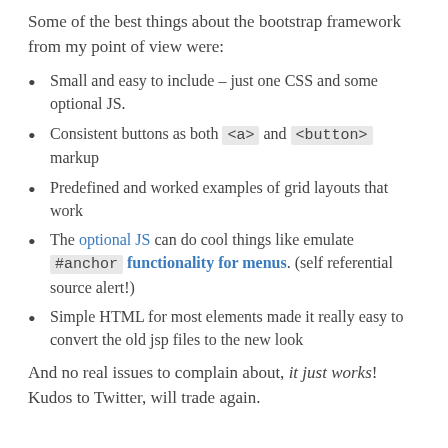Some of the best things about the bootstrap framework from my point of view were:
Small and easy to include – just one CSS and some optional JS.
Consistent buttons as both <a> and <button> markup
Predefined and worked examples of grid layouts that work
The optional JS can do cool things like emulate #anchor functionality for menus. (self referential source alert!)
Simple HTML for most elements made it really easy to convert the old jsp files to the new look
And no real issues to complain about, it just works! Kudos to Twitter, will trade again.